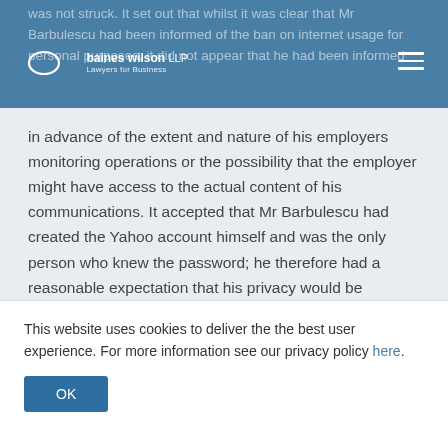Baines Wilson LLP — Lawyers for Business
was not struck. It set out that whilst it was clear that Mr Barbulescu had been informed of the ban on internet usage for personal purposes, it did not appear that he had been informed in advance of the extent and nature of his employers monitoring operations or the possibility that the employer might have access to the actual content of his communications. It accepted that Mr Barbulescu had created the Yahoo account himself and was the only person who knew the password; he therefore had a reasonable expectation that his privacy would be respected. It also noted that his employer had accessed the personal Yahoo account which Mr Barbulescu already had. It concluded that there are numerous forms of communication in modern times that enable individuals to lead a private social life and that the
This website uses cookies to deliver the the best user experience. For more information see our privacy policy here.